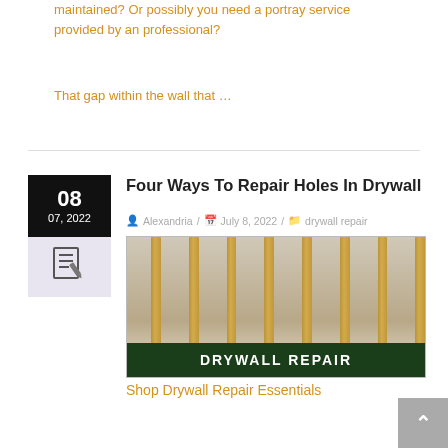maintained? Or possibly you need a portray service provided by an professional?
That gap within the wall that …
Four Ways To Repair Holes In Drywall
Alexandria / July 8, 2022 / drywall repair
[Figure (photo): Photo of exposed wall studs showing drywall damage, with a green banner reading DRYWALL REPAIR]
Shop Drywall Repair Essentials